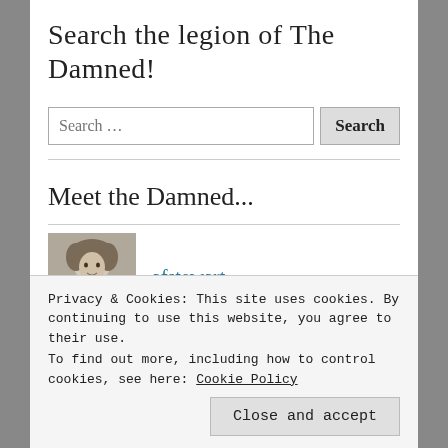Search the legion of The Damned!
[Figure (other): Search input box with placeholder 'Search …' and a Search button]
Meet the Damned...
[Figure (photo): Avatar photo of afstewart — black and white portrait of a woman with curly hair]
afstewart
[Figure (photo): Avatar photo of Charles Gramlich — dark portrait with shadowed face]
Charles Gramlich
Privacy & Cookies: This site uses cookies. By continuing to use this website, you agree to their use.
To find out more, including how to control cookies, see here: Cookie Policy
Close and accept